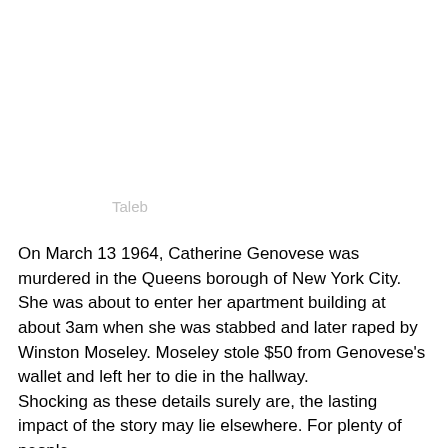Taleb
On March 13 1964, Catherine Genovese was murdered in the Queens borough of New York City. She was about to enter her apartment building at about 3am when she was stabbed and later raped by Winston Moseley. Moseley stole $50 from Genovese's wallet and left her to die in the hallway.
Shocking as these details surely are, the lasting impact of the story may lie elsewhere. For plenty of people